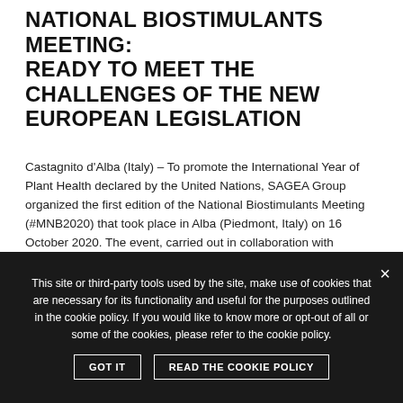NATIONAL BIOSTIMULANTS MEETING: READY TO MEET THE CHALLENGES OF THE NEW EUROPEAN LEGISLATION
Castagnito d'Alba (Italy) – To promote the International Year of Plant Health declared by the United Nations, SAGEA Group organized the first edition of the National Biostimulants Meeting (#MNB2020) that took place in Alba (Piedmont, Italy) on 16 October 2020. The event, carried out in collaboration with Federchimica – Assofertilizzanti (National Association of Fertilizer Manufacturers), … Continued
[Figure (photo): Green plant seedlings on a green background with hashtag #MNB2020 text on the right side]
This site or third-party tools used by the site, make use of cookies that are necessary for its functionality and useful for the purposes outlined in the cookie policy. If you would like to know more or opt-out of all or some of the cookies, please refer to the cookie policy.
GOT IT    READ THE COOKIE POLICY